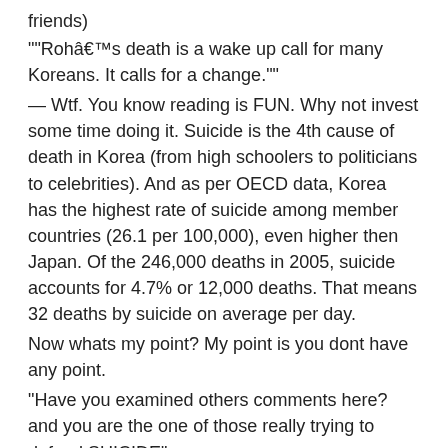friends)
""Rohâ€™s death is a wake up call for many Koreans. It calls for a change.""
— Wtf. You know reading is FUN. Why not invest some time doing it. Suicide is the 4th cause of death in Korea (from high schoolers to politicians to celebrities). And as per OECD data, Korea has the highest rate of suicide among member countries (26.1 per 100,000), even higher then Japan. Of the 246,000 deaths in 2005, suicide accounts for 4.7% or 12,000 deaths. That means 32 deaths by suicide on average per day.
Now whats my point? My point is you dont have any point.
“Have you examined others comments here? and you are the one of those really trying to defend SUICIDE”